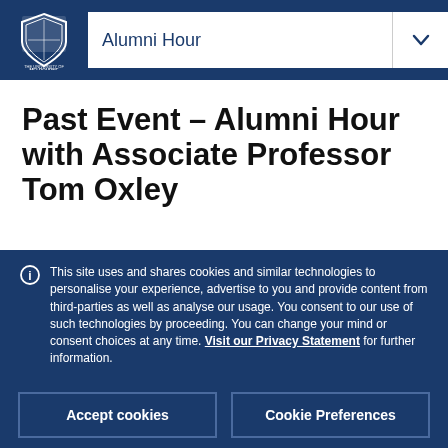Alumni Hour
Past Event – Alumni Hour with Associate Professor Tom Oxley
This site uses and shares cookies and similar technologies to personalise your experience, advertise to you and provide content from third-parties as well as analyse our usage. You consent to our use of such technologies by proceeding. You can change your mind or consent choices at any time. Visit our Privacy Statement for further information.
Accept cookies
Cookie Preferences